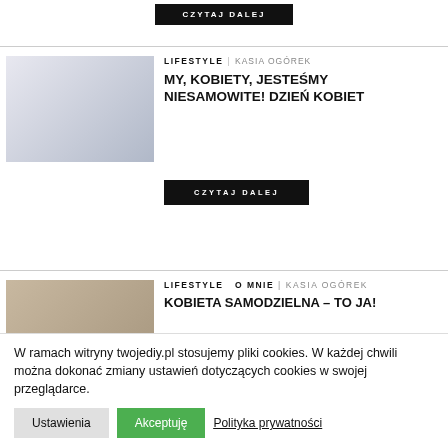[Figure (screenshot): Black button with text CZYTAJ DALEJ at top of page]
[Figure (photo): Photo of a woman in a blue shirt standing in front of colorful wall decorations]
LIFESTYLE | KASIA OGÓREK
MY, KOBIETY, JESTEŚMY NIESAMOWITE! DZIEŃ KOBIET
CZYTAJ DALEJ
[Figure (photo): Photo of a woman sitting on a couch in front of a brick wall]
LIFESTYLE   O MNIE  |  KASIA OGÓREK
KOBIETA SAMODZIELNA – TO JA!
W ramach witryny twojediy.pl stosujemy pliki cookies. W każdej chwili można dokonać zmiany ustawień dotyczących cookies w swojej przeglądarce.
Ustawienia   Akceptuję   Polityka prywatności